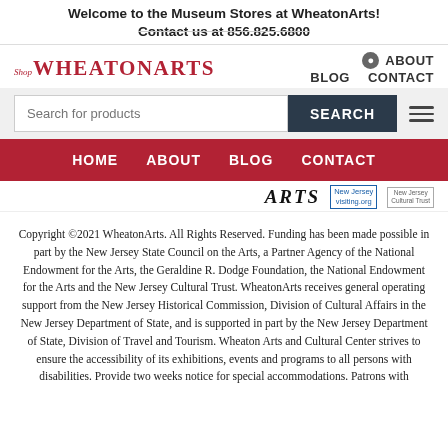Welcome to the Museum Stores at WheatonArts!
Contact us at 856.825.6800
[Figure (logo): Shop WheatonArts logo in red serif font]
ABOUT
BLOG   CONTACT
Search for products   SEARCH
HOME   ABOUT   BLOG   CONTACT
[Figure (logo): ARTS logo, New Jersey visiting.org logo, New Jersey Cultural Trust logo]
Copyright © 2021 WheatonArts. All Rights Reserved. Funding has been made possible in part by the New Jersey State Council on the Arts, a Partner Agency of the National Endowment for the Arts, the Geraldine R. Dodge Foundation, the National Endowment for the Arts and the New Jersey Cultural Trust. WheatonArts receives general operating support from the New Jersey Historical Commission, Division of Cultural Affairs in the New Jersey Department of State, and is supported in part by the New Jersey Department of State, Division of Travel and Tourism. Wheaton Arts and Cultural Center strives to ensure the accessibility of its exhibitions, events and programs to all persons with disabilities. Provide two weeks notice for special accommodations. Patrons with